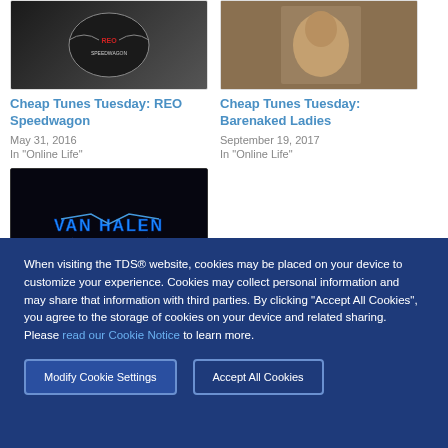[Figure (photo): REO Speedwagon logo image - dark background with band emblem]
[Figure (photo): Barenaked Ladies album art - warm toned image]
Cheap Tunes Tuesday: REO Speedwagon
May 31, 2016
In "Online Life"
Cheap Tunes Tuesday: Barenaked Ladies
September 19, 2017
In "Online Life"
[Figure (photo): Van Halen logo/album art - dark background with band logo in blue lightning bolt style]
When visiting the TDS® website, cookies may be placed on your device to customize your experience. Cookies may collect personal information and may share that information with third parties. By clicking "Accept All Cookies", you agree to the storage of cookies on your device and related sharing. Please read our Cookie Notice to learn more.